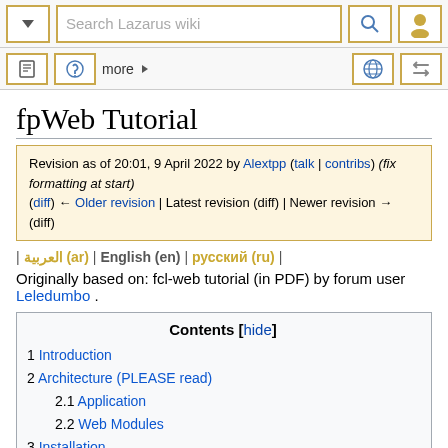Search Lazarus wiki
fpWeb Tutorial
Revision as of 20:01, 9 April 2022 by Alextpp (talk | contribs) (fix formatting at start)
(diff) ← Older revision | Latest revision (diff) | Newer revision → (diff)
| العربية (ar) | English (en) | русский (ru) |
Originally based on: fcl-web tutorial (in PDF) by forum user Leledumbo .
1 Introduction
2 Architecture (PLEASE read)
2.1 Application
2.2 Web Modules
3 Installation
4 Specialized modules
5 Hello, World!
6 Reading GET & POST data